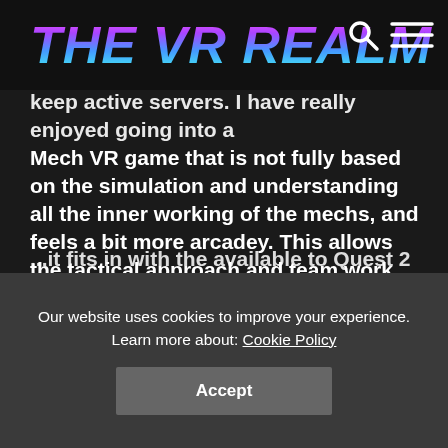The VR Realm
keep active servers. I have really enjoyed going into a Mech VR game that is not fully based on the simulation and understanding all the inner working of the mechs, and feels a bit more arcadey. This allows the tactical approach and team work come to the forefront, and not distracting you with the full on simulation. With a selection of game-modes that focus on team work, making me feel like this could be a great addition to the VR Master League if it takes off with Quest 2 users.
...it fits in with the available to Quest 2 with the only point to...
Our website uses cookies to improve your experience. Learn more about: Cookie Policy
Accept